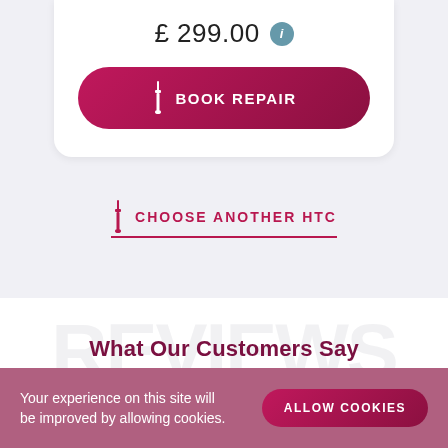£ 299.00
[Figure (other): BOOK REPAIR button with screwdriver icon, dark pink/crimson gradient rounded pill button]
[Figure (other): CHOOSE ANOTHER HTC link with screwdriver icon and underline, crimson text]
What Our Customers Say
Customer Reviews
[Figure (other): Five crimson/pink star rating icons]
4.9 from 126 reviews
Your experience on this site will be improved by allowing cookies.